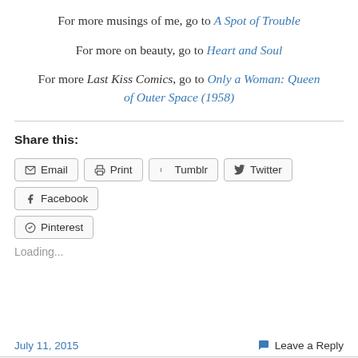For more musings of me, go to A Spot of Trouble
For more on beauty, go to Heart and Soul
For more Last Kiss Comics, go to Only a Woman: Queen of Outer Space (1958)
Share this:
Email  Print  Tumblr  Twitter  Facebook  Pinterest
Loading...
July 11, 2015   Leave a Reply